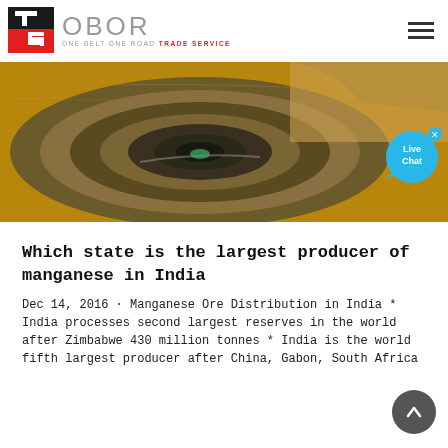OBOR ONE BELT ONE ROAD TRADE SERVICE
[Figure (photo): Aerial view of a large open-pit mine with concentric terraced levels spiraling down to a pool of green water at the bottom, surrounded by rocky brown and grey terrain.]
Which state is the largest producer of manganese in India
Dec 14, 2016 · Manganese Ore Distribution in India * India processes second largest reserves in the world after Zimbabwe 430 million tonnes * India is the world fifth largest producer after China, Gabon, South Africa